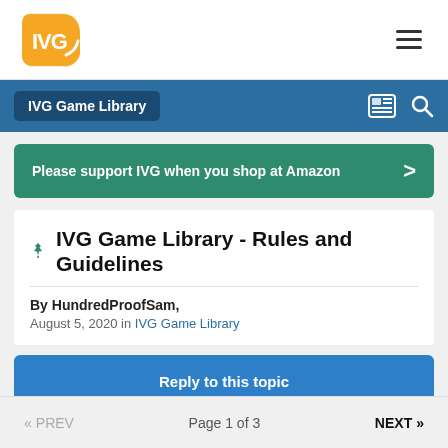[Figure (logo): IVG orange logo with stylized letters IVG]
IVG Game Library
Please support IVG when you shop at Amazon
IVG Game Library - Rules and Guidelines
By HundredProofSam,
August 5, 2020 in IVG Game Library
Reply to this topic
« PREV   Page 1 of 3   NEXT »